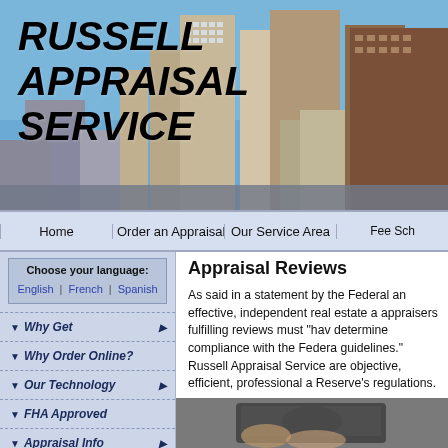[Figure (photo): City skyline with tall modern buildings against a blue sky, used as banner background for Russell Appraisal Service website]
RUSSELL APPRAISAL SERVICE
Home | Order an Appraisal | Our Service Area | Fee Sch
Choose your language: English | French | Spanish
Why Get
Why Order Online?
Our Technology
FHA Approved
Appraisal Info
For Buyers
For Homeowners
Appraisal Reviews
As said in a statement by the Federal an effective, independent real estate a appraisers fulfilling reviews must "hav determine compliance with the Federa guidelines." Russell Appraisal Service are objective, efficient, professional a Reserve's regulations.
[Figure (photo): Close-up photo of a hand holding a tablet device]